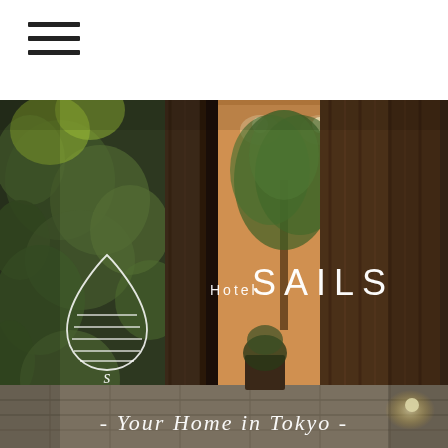[Figure (logo): Hamburger menu icon (three horizontal lines)]
[Figure (photo): Hotel SAILS entrance: a warm-lit wooden door set into a dark wood-clad facade, with lush green plants on the left side. Inside, a large indoor tree is visible under warm ceiling lights. The hotel logo — a teardrop/sail shape with horizontal lines and a letter S — overlays the left side of the image. The text 'Hotel SAILS' appears in white serif/sans letters centered on the image. The tagline '- Your Home in Tokyo -' appears in white italic text at the bottom.]
Hotel SAILS
- Your Home in Tokyo -